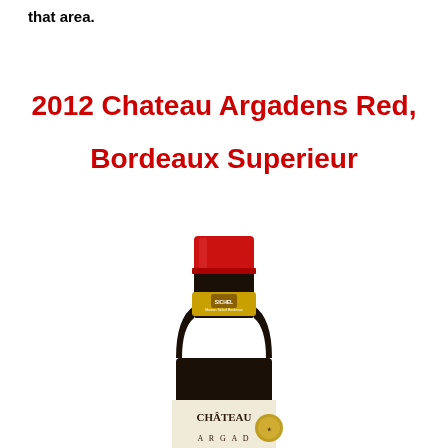that area.
2012 Chateau Argadens Red, Bordeaux Superieur
[Figure (photo): Photo of a wine bottle — Chateau Argadens Red Bordeaux Superieur 2012, showing the upper portion of the bottle with a red foil capsule, a Sichel neck label, and the beginning of the main label reading 'CHÂTEAU' at the bottom.]